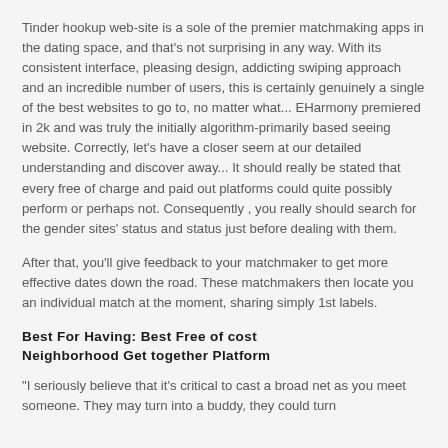Tinder hookup web-site is a sole of the premier matchmaking apps in the dating space, and that's not surprising in any way. With its consistent interface, pleasing design, addicting swiping approach and an incredible number of users, this is certainly genuinely a single of the best websites to go to, no matter what... EHarmony premiered in 2k and was truly the initially algorithm-primarily based seeing website. Correctly, let's have a closer seem at our detailed understanding and discover away... It should really be stated that every free of charge and paid out platforms could quite possibly perform or perhaps not. Consequently , you really should search for the gender sites' status and status just before dealing with them.
After that, you'll give feedback to your matchmaker to get more effective dates down the road. These matchmakers then locate you an individual match at the moment, sharing simply 1st labels.
Best For Having: Best Free of cost Neighborhood Get together Platform
"I seriously believe that it's critical to cast a broad net as you meet someone. They may turn into a buddy, they could turn